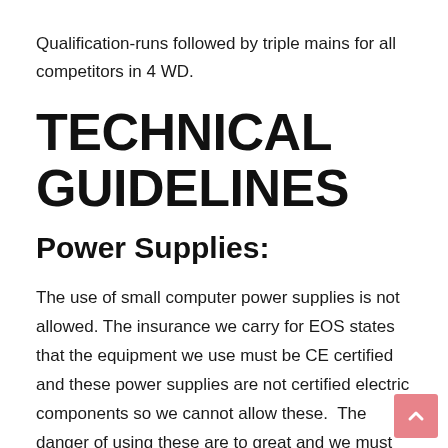Qualification-runs followed by triple mains for all competitors in 4 WD.
TECHNICAL GUIDELINES
Power Supplies:
The use of small computer power supplies is not allowed. The insurance we carry for EOS states that the equipment we use must be CE certified and these power supplies are not certified electric components so we cannot allow these.  The danger of using these are to great and we must have